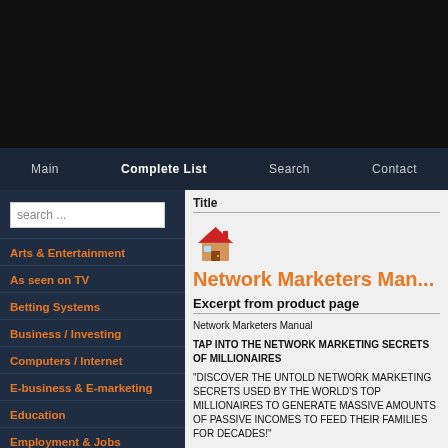Main | Complete List | Search | Contact
search ...
Arts & Entertainment
As seen on TV
Betting Systems
Business / Investing
Computers / Internet
E-business & E-marketing
Education
Employment & Jobs
Fiction
Games
Green Products
Title
[Figure (illustration): Small house icon with red roof]
Network Marketers Man...
Excerpt from product page
Network Marketers Manual

TAP INTO THE NETWORK MARKETING SECRETS OF MILLIONAIRES

"DISCOVER THE UNTOLD NETWORK MARKETING SECRETS USED BY THE WORLD'S TOP MILLIONAIRES TO GENERATE MASSIVE AMOUNTS OF PASSIVE INCOMES TO FEED THEIR FAMILIES FOR DECADES!"

FINALLY YOU CAN FULLY EQUIP YOURSELF